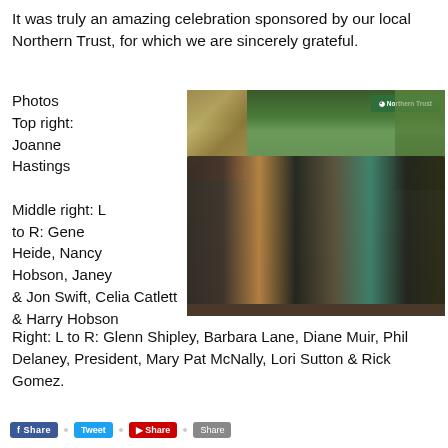It was truly an amazing celebration sponsored by our local Northern Trust, for which we are sincerely grateful.
Photos Top right: Joanne Hastings

Middle right: L to R: Gene Heide, Nancy Hobson, Janey & Jon Swift, Celia Catlett & Harry Hobson
[Figure (photo): Group photo of seven people standing in front of a Northern Trust banner at an event venue.]
Right: L to R: Glenn Shipley, Barbara Lane, Diane Muir, Phil Delaney, President, Mary Pat McNally, Lori Sutton & Rick Gomez.
Social sharing buttons: Facebook, Twitter, YouTube, other